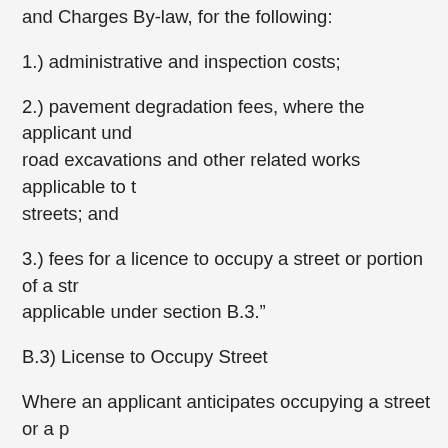and Charges By-law, for the following:
1.) administrative and inspection costs;
2.) pavement degradation fees, where the applicant undertakes road excavations and other related works applicable to the streets; and
3.) fees for a licence to occupy a street or portion of a street applicable under section B.3."
B.3) License to Occupy Street
Where an applicant anticipates occupying a street or a portion of a street for more than 30 days, the applicant shall enter into a licence agreement with the City prior to issuance of a work approval permit. Under that agreement, the applicant shall